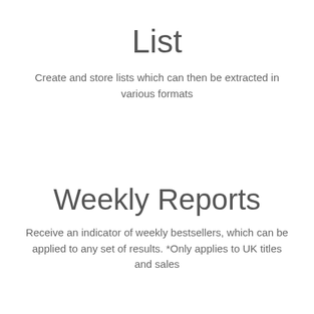List
Create and store lists which can then be extracted in various formats
Weekly Reports
Receive an indicator of weekly bestsellers, which can be applied to any set of results. *Only applies to UK titles and sales